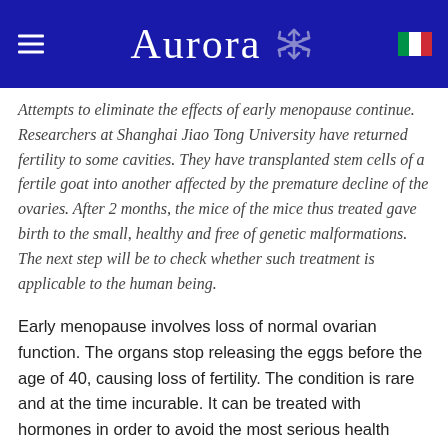Aurora
Attempts to eliminate the effects of early menopause continue. Researchers at Shanghai Jiao Tong University have returned fertility to some cavities. They have transplanted stem cells of a fertile goat into another affected by the premature decline of the ovaries. After 2 months, the mice of the mice thus treated gave birth to the small, healthy and free of genetic malformations. The next step will be to check whether such treatment is applicable to the human being.
Early menopause involves loss of normal ovarian function. The organs stop releasing the eggs before the age of 40, causing loss of fertility. The condition is rare and at the time incurable. It can be treated with hormones in order to avoid the most serious health consequences. However, many scientists are studying how to use stem cells to correct it. This...